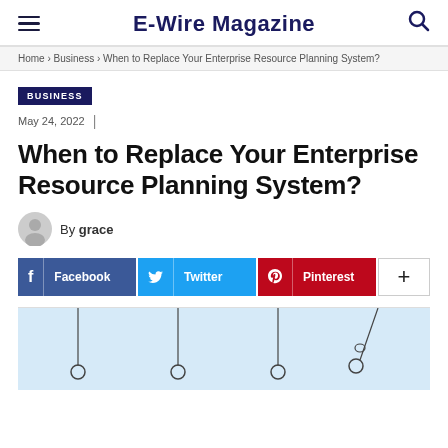E-Wire Magazine
Home › Business › When to Replace Your Enterprise Resource Planning System?
BUSINESS
May 24, 2022
When to Replace Your Enterprise Resource Planning System?
By grace
[Figure (screenshot): Social sharing buttons for Facebook, Twitter, Pinterest, and a plus/more button]
[Figure (illustration): Partial illustration with light blue background showing pendulum-like hanging objects]